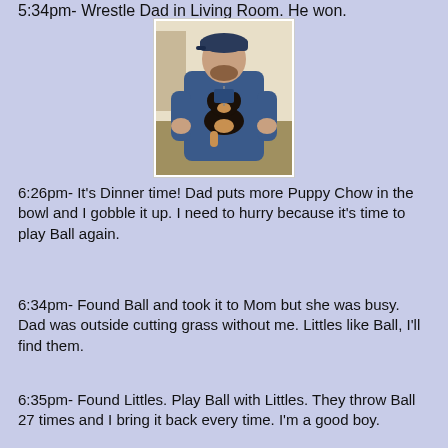5:34pm-  Wrestle Dad in Living Room. He won.
[Figure (photo): A man in a blue cap and blue hoodie holding a small black and tan puppy]
6:26pm-  It's Dinner time!  Dad puts more Puppy Chow in the bowl and I gobble it up.  I need to hurry because it's time to play Ball again.
6:34pm-  Found Ball and took it to Mom but she was busy.  Dad was outside cutting grass without me.  Littles like Ball, I'll find them.
6:35pm-  Found Littles.  Play Ball with Littles.  They throw Ball 27 times and I bring it back every time.  I'm a good boy.